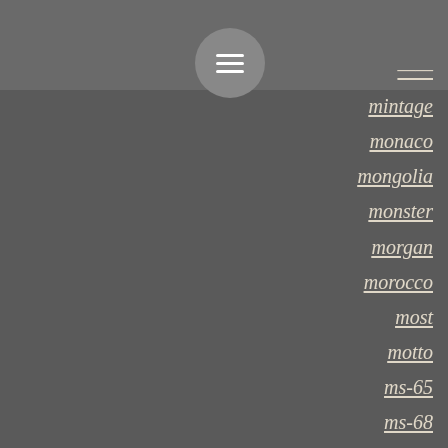[Figure (other): Navigation menu button (hamburger icon) inside a circular grey background in a grey header bar]
——
mintage
monaco
mongolia
monster
morgan
morocco
most
motto
ms-65
ms-68
ms64
ms65
ms66
ms67